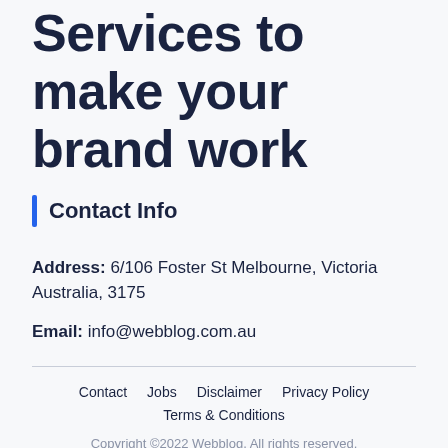Services to make your brand work
Contact Info
Address: 6/106 Foster St Melbourne, Victoria Australia, 3175
Email: info@webblog.com.au
Contact    Jobs    Disclaimer    Privacy Policy    Terms & Conditions    Copyright ©2022 Webblog. All rights reserved.